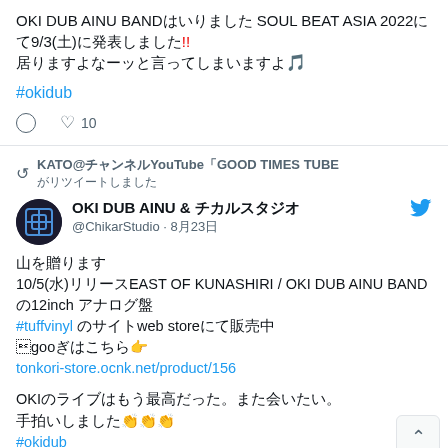OKI DUB AINU BAND□□□□□□□□□ SOUL BEAT ASIA 2022□□□□□9/3(□)□□□□□!! □□□□□□□□□□□🎵
#okidub
💬  ♡ 10
🔁 KATO@□□□YouTube□GOOD TIMES TUBE □□□□□□□□
OKI DUB AINU & □□□□ @ChikarStudio · 8□23□
□□□□□□□□ 10/5(□)□□□□□□EAST OF KUNASHIRI / OKI DUB AINU BAND□12inch □□□□□□□□□ #tuffvinyl □□□□□□□□web store□□□□□□□ □□□□👉 tonkori-store.ocnk.net/product/156
OKI□□□□□□□□□□□□□□□□□□□□□□□□□□□□□□□□□ □□□□👏👏👏 #okidub